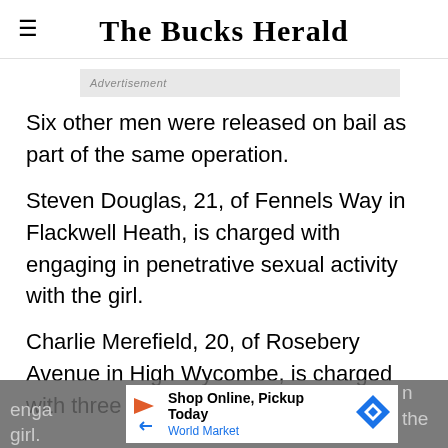The Bucks Herald
[Figure (other): Advertisement banner placeholder (grey bar)]
Six other men were released on bail as part of the same operation.
Steven Douglas, 21, of Fennels Way in Flackwell Heath, is charged with engaging in penetrative sexual activity with the girl.
Charlie Merefield, 20, of Rosebery Avenue in High Wycombe, is charged with three counts of engaging in penetrative sexual activity with the girl.
[Figure (other): Bottom advertisement overlay: Shop Online, Pickup Today — World Market]